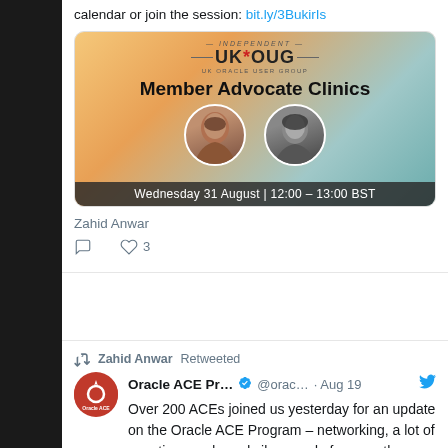calendar or join the session: bit.ly/3BukirIs
[Figure (photo): UKOUG Member Advocate Clinics event card with two presenter photos and date Wednesday 31 August | 12:00 - 13:00 BST]
Zahid Anwar
Reply icon, Heart icon 3
Zahid Anwar Retweeted
Oracle ACE Pr... @orac... · Aug 19  Over 200 ACEs joined us yesterday for an update on the Oracle ACE Program – networking, a lot of questions and good vibes, and of course the good news we've all been waiting for:
The new and improved #OracleACE Program